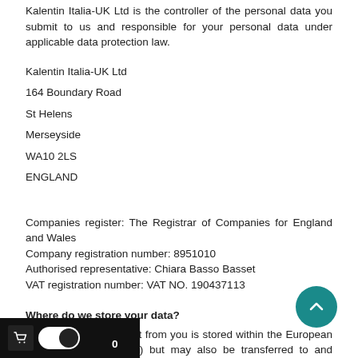Kalentin Italia-UK Ltd is the controller of the personal data you submit to us and responsible for your personal data under applicable data protection law.
Kalentin Italia-UK Ltd
164 Boundary Road
St Helens
Merseyside
WA10 2LS
ENGLAND
Companies register: The Registrar of Companies for England and Wales
Company registration number: 8951010
Authorised representative: Chiara Basso Basset
VAT registration number: VAT NO. 190437113
Where do we store your data?
The data that we collect from you is stored within the European Economic Area (“EEA”) but may also be transferred to and processed in a country outside of the EEA. Any such transfer of your personal data will be carried out in compliance with applicable laws.
Who can access your data?
Your data may be shared within Kalentin Italia-UK Ltd. We never pass on, sell or swap your data for marketing